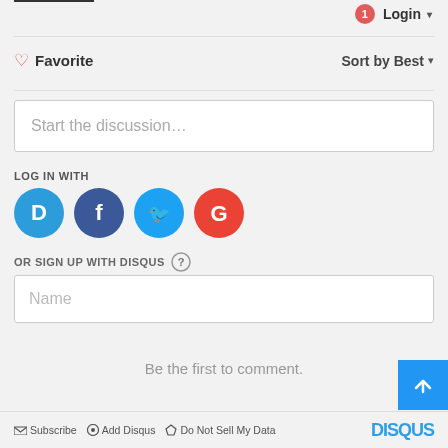[Figure (screenshot): Disqus comment section UI with Login button, badge with 1, Favorite and Sort by Best controls, discussion text area, social login icons (Disqus, Facebook, Twitter, Google), sign up with Disqus form with Name field, 'Be the first to comment' placeholder text, footer with Subscribe, Add Disqus, Do Not Sell My Data links and Disqus logo, scroll-to-top button]
Subscribe  Add Disqus  Do Not Sell My Data  DISQUS